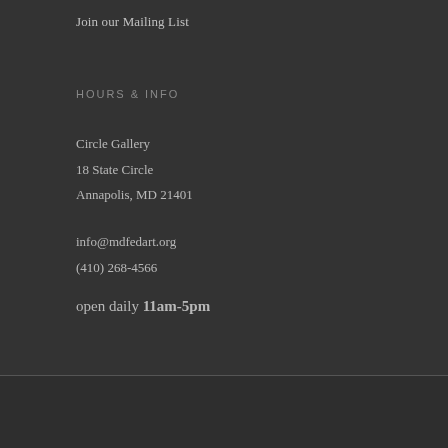Join our Mailing List
HOURS & INFO
Circle Gallery
18 State Circle
Annapolis, MD 21401
info@mdfedart.org
(410) 268-4566
open daily 11am-5pm
All content on this site is subject to copyright protection and may not be reproduced, copied or otherwise utilized without the express permission